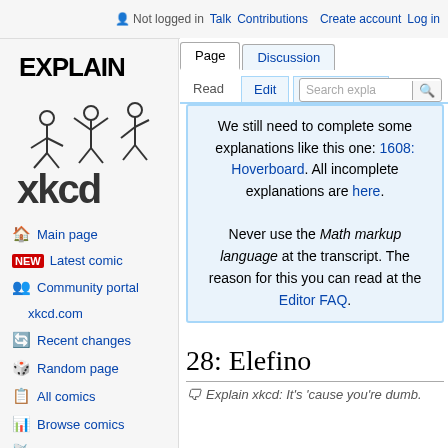Not logged in  Talk  Contributions  Create account  Log in
[Figure (logo): Explain xkcd logo with stick figures and text 'EXPLAIN xkcd']
Main page
Latest comic
Community portal
xkcd.com
Recent changes
Random page
All comics
Browse comics
RSS feed
We still need to complete some explanations like this one: 1608: Hoverboard. All incomplete explanations are here.

Never use the Math markup language at the transcript. The reason for this you can read at the Editor FAQ.
28: Elefino
Explain xkcd: It's 'cause you're dumb.